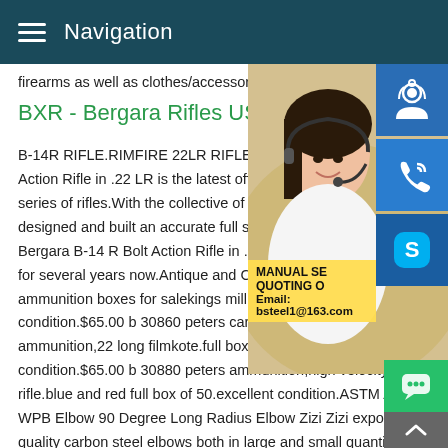Navigation
firearms as well as clothes/accessories.
BXR - Bergara Rifles USA
B-14R RIFLE.RIMFIRE 22LR RIFLE.The B-14 R Bolt Action Rifle in .22 LR is the latest offering series of rifles.With the collective of our ex designed and built an accurate full size .22 Bergara B-14 R Bolt Action Rifle in .22 LR for several years now.Antique and Collecta ammunition boxes for salekings mill addre condition.$65.00 b 30860 peters cartridge division,kings mills,ohio; ammunition,22 long filmkote.full box of 50.excellent condition.$65.00 b 30880 peters ammunition,high velocity 22 rifle.blue and red full box of 50.excellent condition.ASTM A234 WPB Elbow 90 Degree Long Radius Elbow Zizi Zizi exports hi quality carbon steel elbows both in large and small quantities a
[Figure (photo): Woman with headset customer service representative photo, with blue sidebar icons for support/call/skype, and overlay banner with MANUAL SE, QUOTING O, Email: bsteel1@163.com]